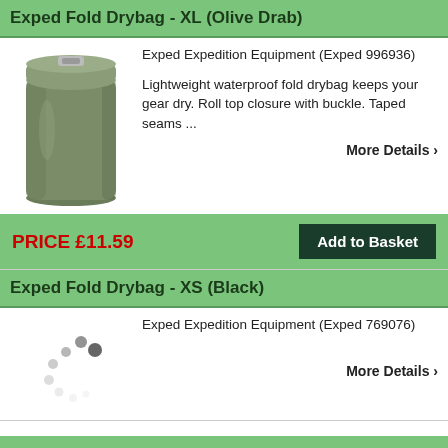Exped Fold Drybag - XL (Olive Drab)
[Figure (photo): Olive drab colored cylindrical drybag with roll-top closure]
Exped Expedition Equipment (Exped 996936)
Lightweight waterproof fold drybag keeps your gear dry. Roll top closure with buckle. Taped seams ...
More Details ›
PRICE £11.59
Add to Basket
Exped Fold Drybag - XS (Black)
Exped Expedition Equipment (Exped 769076)
More Details ›
[Figure (illustration): Loading spinner animation dots]